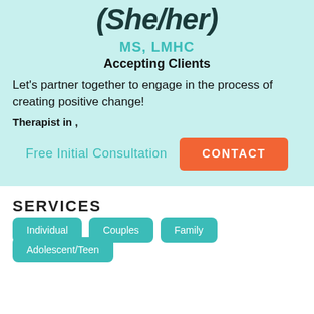(She/her)
MS, LMHC
Accepting Clients
Let's partner together to engage in the process of creating positive change!
Therapist in ,
Free Initial Consultation
CONTACT
SERVICES
Individual
Couples
Family
Adolescent/Teen